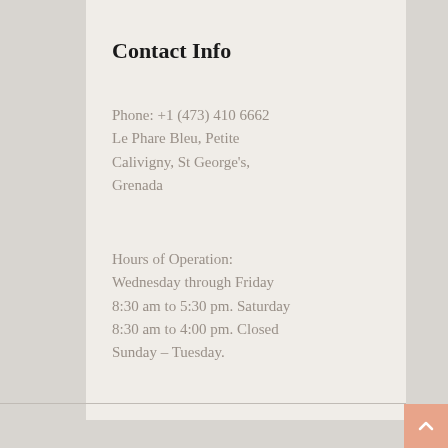Contact Info
Phone: +1 (473) 410 6662
Le Phare Bleu, Petite Calivigny, St George's, Grenada
Hours of Operation:
Wednesday through Friday 8:30 am to 5:30 pm. Saturday 8:30 am to 4:00 pm. Closed Sunday – Tuesday.